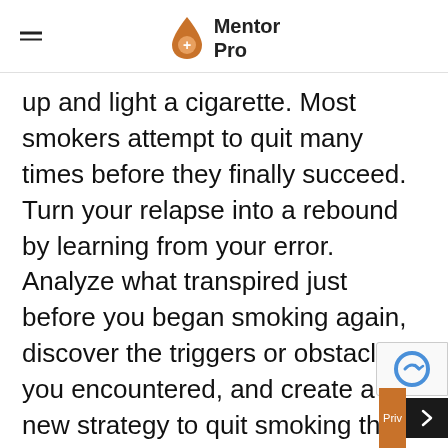Mentor Pro
up and light a cigarette. Most smokers attempt to quit many times before they finally succeed. Turn your relapse into a rebound by learning from your error. Analyze what transpired just before you began smoking again, discover the triggers or obstacles you encountered, and create a new strategy to quit smoking that removes them.
It is also essential to differentiate